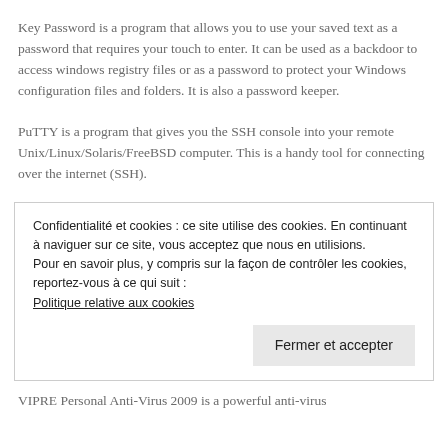Key Password is a program that allows you to use your saved text as a password that requires your touch to enter. It can be used as a backdoor to access windows registry files or as a password to protect your Windows configuration files and folders. It is also a password keeper.
PuTTY is a program that gives you the SSH console into your remote Unix/Linux/Solaris/FreeBSD computer. This is a handy tool for connecting over the internet (SSH).
Confidentialité et cookies : ce site utilise des cookies. En continuant à naviguer sur ce site, vous acceptez que nous en utilisions.
Pour en savoir plus, y compris sur la façon de contrôler les cookies, reportez-vous à ce qui suit :
Politique relative aux cookies
Fermer et accepter
VIPRE Personal Anti-Virus 2009 is a powerful anti-virus